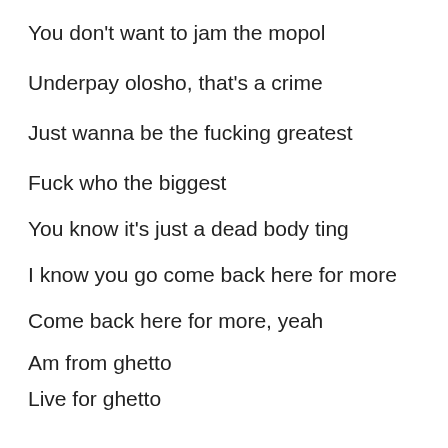You don't want to jam the mopol
Underpay olosho, that's a crime
Just wanna be the fucking greatest
Fuck who the biggest
You know it's just a dead body ting
I know you go come back here for more
Come back here for more, yeah
Am from ghetto
Live for ghetto
Die for ghetto (ghetto)
Stand for ghetto